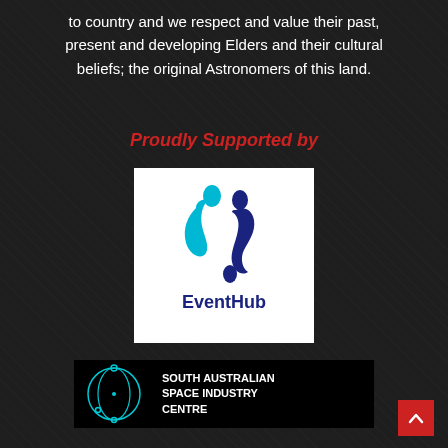to country and we respect and value their past, present and developing Elders and their cultural beliefs; the original Astronomers of this land.
Proudly Supported by
[Figure (logo): EventHub logo on white background — two abstract human figures in blue tones with 'EventHub' text below in dark navy]
[Figure (logo): South Australian Space Industry Centre logo — circular orbit diagram in cyan on black background with white bold text 'SOUTH AUSTRALIAN SPACE INDUSTRY CENTRE']